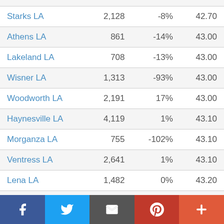|  |  |  |  |
| --- | --- | --- | --- |
| Starks LA | 2,128 | -8% | 42.70 |
| Athens LA | 861 | -14% | 43.00 |
| Lakeland LA | 708 | -13% | 43.00 |
| Wisner LA | 1,313 | -93% | 43.00 |
| Woodworth LA | 2,191 | 17% | 43.00 |
| Haynesville LA | 4,119 | 1% | 43.10 |
| Morganza LA | 755 | -102% | 43.10 |
| Ventress LA | 2,641 | 1% | 43.10 |
| Lena LA | 1,482 | 0% | 43.20 |
| Maurepas LA | 4,007 | 9% | 43.20 |
f  twitter  email  pinterest  +